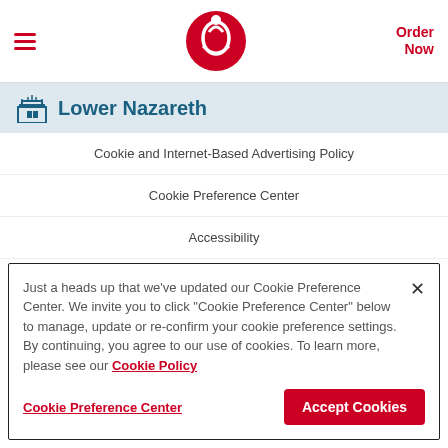Chick-fil-A header with hamburger menu, logo, and Order Now button
Lower Nazareth
Cookie and Internet-Based Advertising Policy
Cookie Preference Center
Accessibility
Just a heads up that we've updated our Cookie Preference Center. We invite you to click "Cookie Preference Center" below to manage, update or re-confirm your cookie preference settings. By continuing, you agree to our use of cookies. To learn more, please see our Cookie Policy
Cookie Preference Center
Accept Cookies